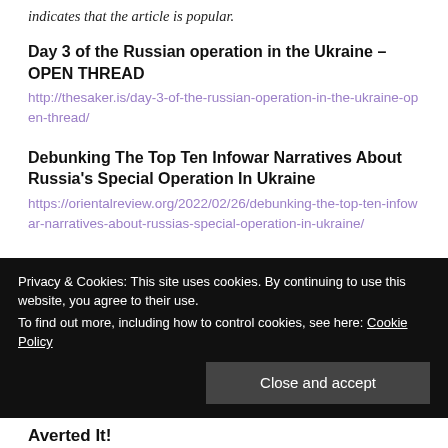indicates that the article is popular.
Day 3 of the Russian operation in the Ukraine – OPEN THREAD
http://thesaker.is/day-3-of-the-russian-operation-in-the-ukraine-open-thread/
Debunking The Top Ten Infowar Narratives About Russia's Special Operation In Ukraine
https://orientalreview.org/2022/02/26/debunking-the-top-ten-infowar-narratives-about-russias-special-operation-in-ukraine/
Privacy & Cookies: This site uses cookies. By continuing to use this website, you agree to their use.
To find out more, including how to control cookies, see here: Cookie Policy
Averted It!